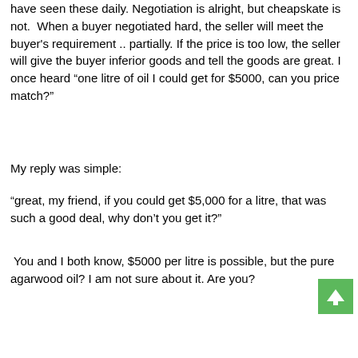have seen these daily. Negotiation is alright, but cheapskate is not.  When a buyer negotiated hard, the seller will meet the buyer's requirement .. partially. If the price is too low, the seller will give the buyer inferior goods and tell the goods are great. I once heard “one litre of oil I could get for $5000, can you price match?”
My reply was simple:
“great, my friend, if you could get $5,000 for a litre, that was such a good deal, why don’t you get it?”
You and I both know, $5000 per litre is possible, but the pure agarwood oil? I am not sure about it. Are you?
[Figure (other): Green button with white upward arrow icon]